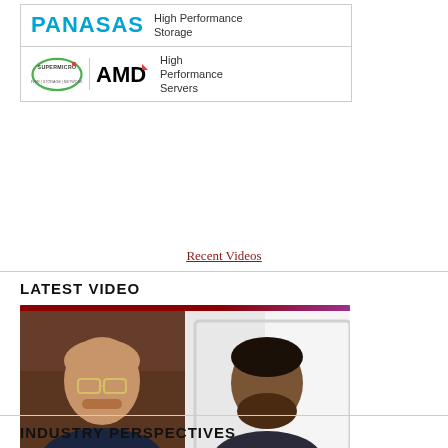[Figure (logo): Panasas High Performance Storage logo in a bordered box]
[Figure (logo): Supermicro and AMD High Performance Servers logo in a bordered box]
Recent Videos
LATEST VIDEO
[Figure (screenshot): Video thumbnail showing two people in a split-screen video call: Doug Black on the left and Sumit Puri on the right]
Recent Videos
INDUSTRY PERSPECTIVES